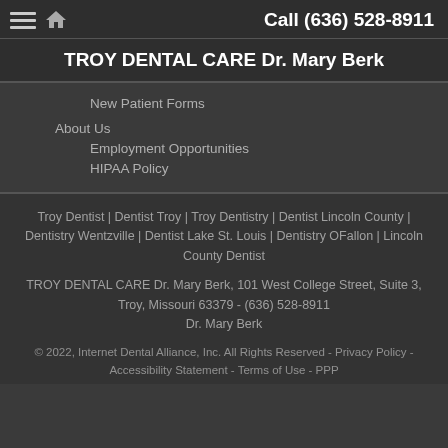Call (636) 528-8911
TROY DENTAL CARE Dr. Mary Berk
New Patient Forms
About Us
Employment Opportunities
HIPAA Policy
Troy Dentist | Dentist Troy | Troy Dentistry | Dentist Lincoln County | Dentistry Wentzville | Dentist Lake St. Louis | Dentistry OFallon | Lincoln County Dentist
TROY DENTAL CARE Dr. Mary Berk, 101 West College Street, Suite 3, Troy, Missouri 63379 - (636) 528-8911
Dr. Mary Berk
© 2022, Internet Dental Alliance, Inc. All Rights Reserved - Privacy Policy - Accessibility Statement - Terms of Use - PPP